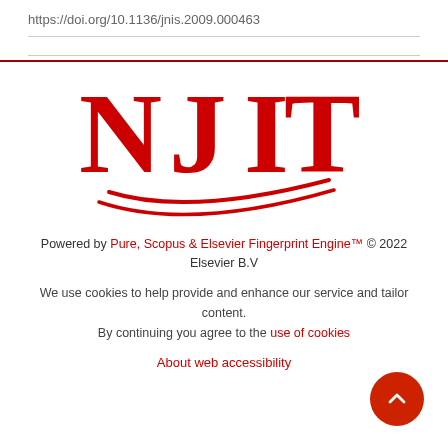https://doi.org/10.1136/jnis.2009.000463
[Figure (logo): NJIT (New Jersey Institute of Technology) logo in red with a swoosh underline]
Powered by Pure, Scopus & Elsevier Fingerprint Engine™ © 2022 Elsevier B.V
We use cookies to help provide and enhance our service and tailor content. By continuing you agree to the use of cookies
About web accessibility